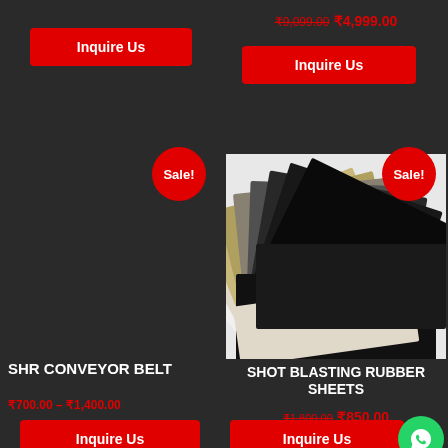[Figure (other): Red Inquire Us button, left top]
₹9,099.00 ₹4,999.00
[Figure (other): Red Inquire Us button, right top]
[Figure (other): Sale! badge, left product]
[Figure (other): Sale! badge, right product]
[Figure (photo): Stack of rubber sheets in various colors (black, white, beige) fanned out]
SHR CONVEYOR BELT
₹700.00 – ₹1,400.00
[Figure (other): Red Inquire Us button, left bottom]
SHOT BLASTING RUBBER SHEETS
₹1,800.00 ₹850.00
[Figure (other): Red Inquire Us button, right bottom]
[Figure (other): WhatsApp green circle button]